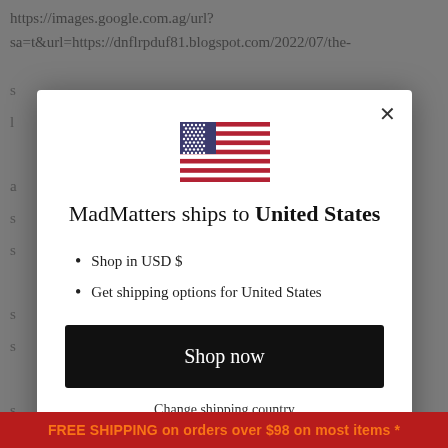https://images.google.com.ag/url?sa=t&url=https://dnflrpduf81.blogspot.com/2022/07/the-
[Figure (screenshot): Modal dialog popup for MadMatters shipping country selection. Contains US flag, title 'MadMatters ships to United States', bullet points 'Shop in USD $' and 'Get shipping options for United States', a black 'Shop now' button, and a 'Change shipping country' link.]
https://images.google.co.ve/url?
FREE SHIPPING on orders over $98 on most items *